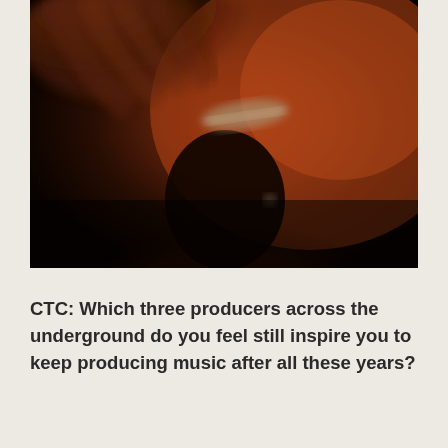[Figure (photo): A dark, moody photograph of a man wearing a cap tilting his head down, with a blurred hand in the foreground and an orange-lit wall in the background.]
CTC: Which three producers across the underground do you feel still inspire you to keep producing music after all these years?